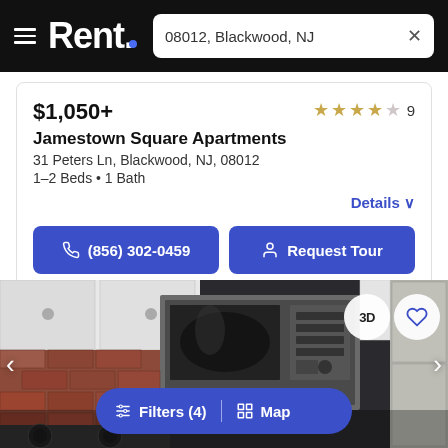Rent. — 08012, Blackwood, NJ
$1,050+
★★★★☆ 9
Jamestown Square Apartments
31 Peters Ln, Blackwood, NJ, 08012
1–2 Beds • 1 Bath
Details ∨
(856) 302-0459
Request Tour
[Figure (photo): Kitchen interior with stainless steel microwave/oven, white cabinets, brick backsplash]
Filters (4) | Map